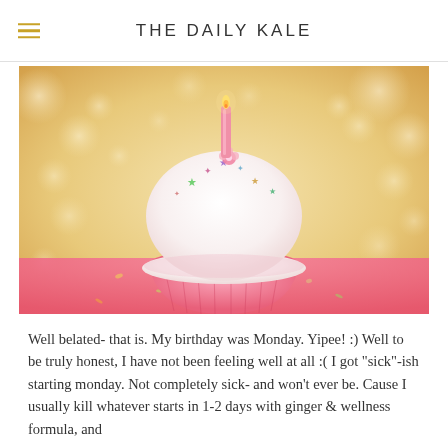THE DAILY KALE
[Figure (photo): A close-up photo of a pink birthday cupcake with white frosting, colorful star sprinkles, and a single pink candle, set against a warm golden bokeh background.]
Well belated- that is. My birthday was Monday. Yipee! :) Well to be truly honest, I have not been feeling well at all :( I got "sick"-ish starting monday. Not completely sick- and won't ever be. Cause I usually kill whatever starts in 1-2 days with ginger & wellness formula, and